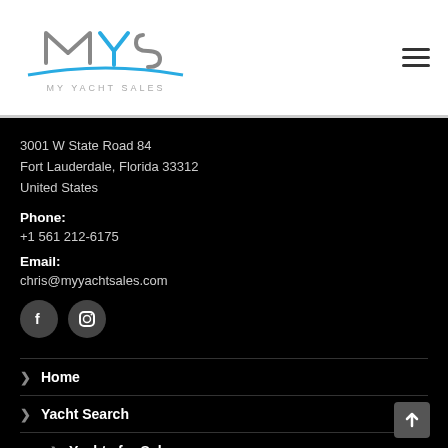[Figure (logo): My Yacht Sales logo with MYS letters and blue swoosh, text 'MY YACHT SALES' below]
3001 W State Road 84
Fort Lauderdale, Florida 33312
United States
Phone:
+1 561 212-6175
Email:
chris@myyachtsales.com
[Figure (logo): Facebook and Instagram social media icon buttons]
Home
Yacht Search
Yachts for Sale